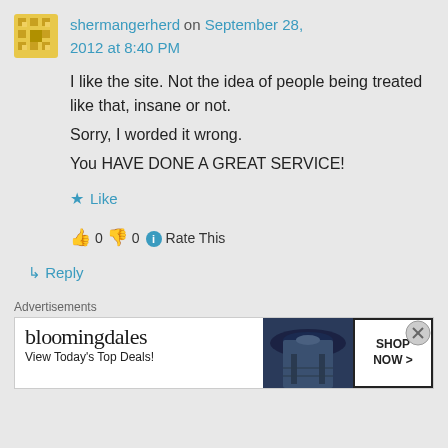shermangerherd on September 28, 2012 at 8:40 PM
I like the site. Not the idea of people being treated like that, insane or not.
Sorry, I worded it wrong.
You HAVE DONE A GREAT SERVICE!
Like
👍 0 👎 0 ℹ Rate This
↳ Reply
Advertisements
[Figure (screenshot): Bloomingdale's advertisement banner: 'bloomingdales View Today's Top Deals!' with a woman in a hat and a 'SHOP NOW >' button]